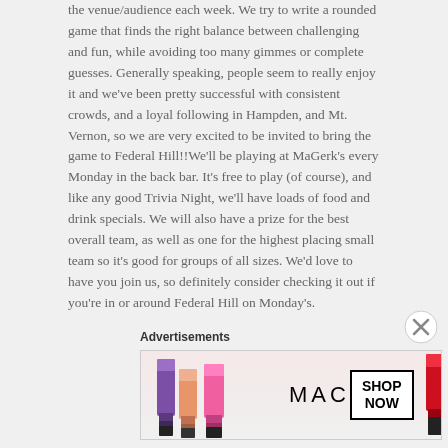the venue/audience each week. We try to write a rounded game that finds the right balance between challenging and fun, while avoiding too many gimmes or complete guesses. Generally speaking, people seem to really enjoy it and we've been pretty successful with consistent crowds, and a loyal following in Hampden, and Mt. Vernon, so we are very excited to be invited to bring the game to Federal Hill!!We'll be playing at MaGerk's every Monday in the back bar. It's free to play (of course), and like any good Trivia Night, we'll have loads of food and drink specials. We will also have a prize for the best overall team, as well as one for the highest placing small team so it's good for groups of all sizes. We'd love to have you join us, so definitely consider checking it out if you're in or around Federal Hill on Monday's.
Advertisements
[Figure (illustration): MAC cosmetics advertisement banner showing colorful lipsticks on the left, MAC logo in the center, a SHOP NOW button box, and a red lipstick on the right against a light background.]